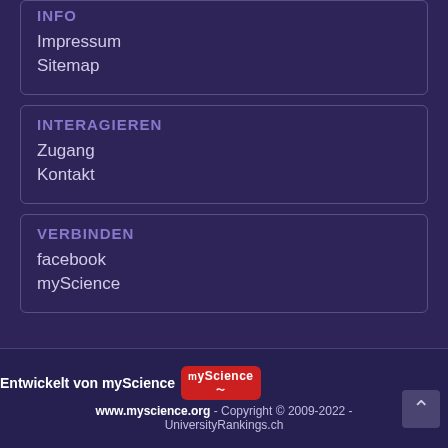INFO
Impressum
Sitemap
INTERAGIEREN
Zugang
Kontakt
VERBINDEN
facebook
myScience
Entwickelt von myScience | www.myscience.org - Copyright © 2009-2022 - UniversityRankings.ch